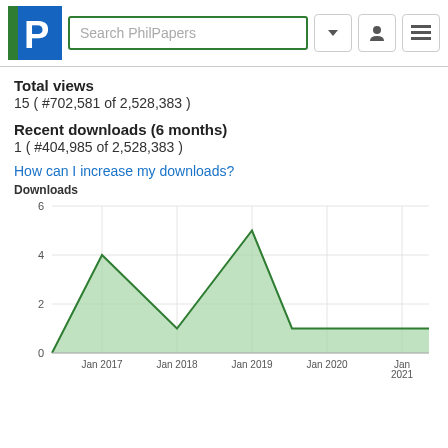Search PhilPapers
Total views
15 ( #702,581 of 2,528,383 )
Recent downloads (6 months)
1 ( #404,985 of 2,528,383 )
How can I increase my downloads?
[Figure (area-chart): Downloads]